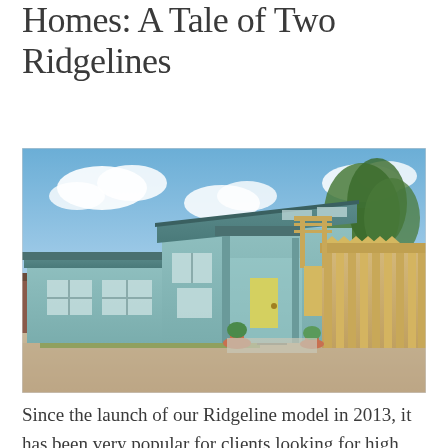Homes: A Tale of Two Ridgelines
[Figure (photo): Exterior photo of a light blue/teal single-story Ridgeline model home with a covered front porch, yellow door, wooden fence on the right side, landscaping with flowers along the front, gravel driveway, and trees in the background under a partly cloudy sky.]
Since the launch of our Ridgeline model in 2013, it has been very popular for clients looking for high performance homes. The Ridgeline has been